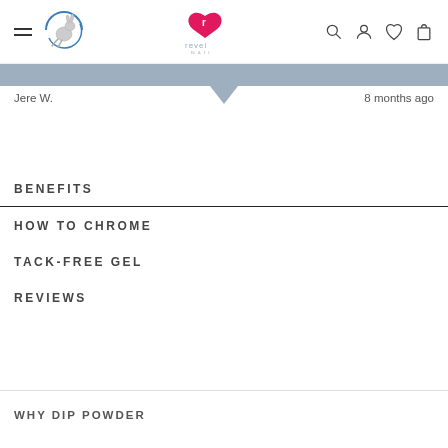Revel Nail website header with hamburger menu, animal logo, Revel Nail logo, search, account, wishlist, and cart icons
Jere W.    8 months ago
BENEFITS
HOW TO CHROME
TACK-FREE GEL
REVIEWS
WHY DIP POWDER